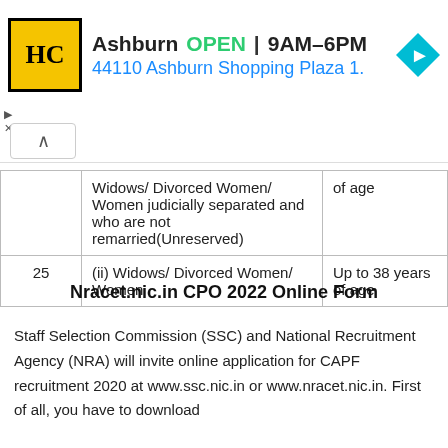[Figure (other): Advertisement banner for HC store in Ashburn showing logo, OPEN status, hours 9AM-6PM, address 44110 Ashburn Shopping Plaza 1., and navigation arrow icon]
|  |  |  |
| --- | --- | --- |
|  | Widows/ Divorced Women/ Women judicially separated and who are not remarried(Unreserved) | of age |
| 25 | (ii) Widows/ Divorced Women/ Women | Up to 38 years of age |
Nracet.nic.in CPO 2022 Online Form
Staff Selection Commission (SSC) and National Recruitment Agency (NRA) will invite online application for CAPF recruitment 2020 at www.ssc.nic.in or www.nracet.nic.in. First of all, you have to download